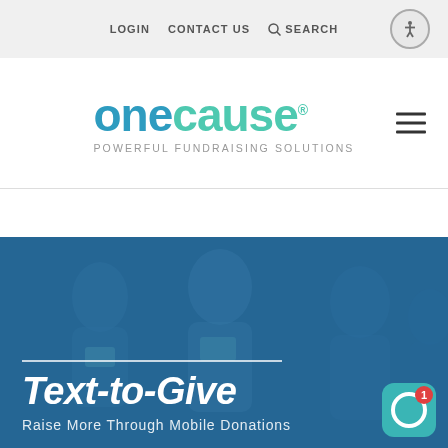LOGIN  CONTACT US  SEARCH
[Figure (logo): OneCause logo with tagline POWERFUL FUNDRAISING SOLUTIONS and hamburger menu icon]
[Figure (photo): Hero banner with blue-tinted photo of people on mobile devices. Bold italic text reads 'Text-to-Give' with subtitle 'Raise More Through Mobile Donations'. White horizontal divider line above text. Notification icon bottom right.]